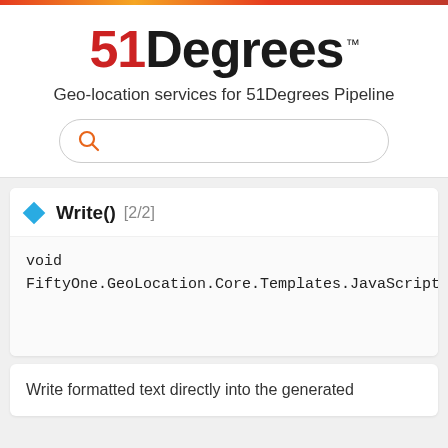[Figure (logo): 51Degrees logo with red '51' and black 'Degrees' text, with TM superscript]
Geo-location services for 51Degrees Pipeline
[Figure (other): Search bar with orange search icon]
Write() [2/2]
void FiftyOne.GeoLocation.Core.Templates.JavaScriptR
Write formatted text directly into the generated